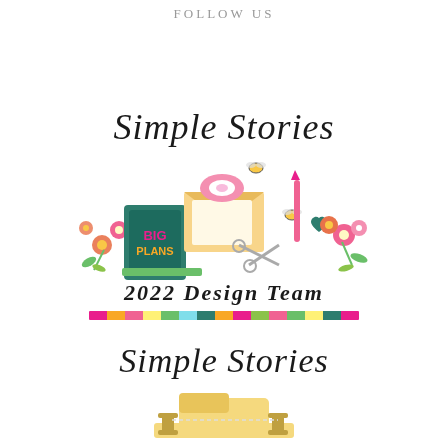FOLLOW US
[Figure (logo): Simple Stories 2022 Design Team logo with colorful craft supply illustration including flowers, scissors, tape, envelopes, and a Big Plans book, with a decorative striped bar below]
[Figure (logo): Simple Stories logo with craft/sewing machine illustration below]